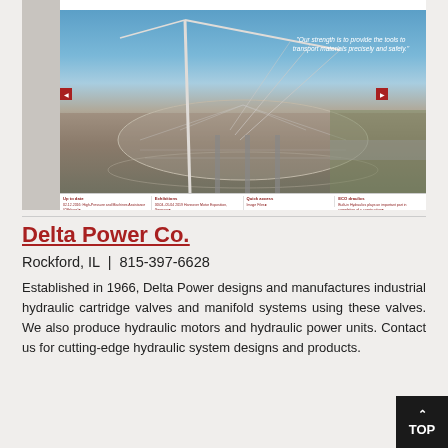[Figure (screenshot): Screenshot of a hydraulics company website showing a large crane photo with the quote 'Our strength is to provide the tools to transport materials precisely and safely.' and navigation footer with columns: Up to date, Exhibitions, Quick access, ECO draulics]
Delta Power Co.
Rockford, IL  |  815-397-6628
Established in 1966, Delta Power designs and manufactures industrial hydraulic cartridge valves and manifold systems using these valves. We also produce hydraulic motors and hydraulic power units. Contact us for cutting-edge hydraulic system designs and products.